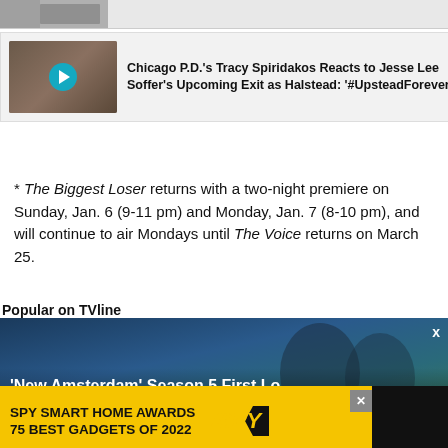[Figure (photo): Partial top image strip showing cropped photo]
[Figure (screenshot): Article card: Chicago P.D.'s Tracy Spiridakos Reacts to Jesse Lee Soffer's Upcoming Exit as Halstead: '#UpsteadForever' with thumbnail image and play button]
* The Biggest Loser returns with a two-night premiere on Sunday, Jan. 6 (9-11 pm) and Monday, Jan. 7 (8-10 pm), and will continue to air Mondays until The Voice returns on March 25.
Popular on TVline
[Figure (screenshot): Video card: 'New Amsterdam' Season 5 First Lo... Here are our first look images from New Amsterdam's fi...]
[Figure (other): Ad banner: SPY SMART HOME AWARDS 75 BEST GADGETS OF 2022 with SPY logo on yellow background]